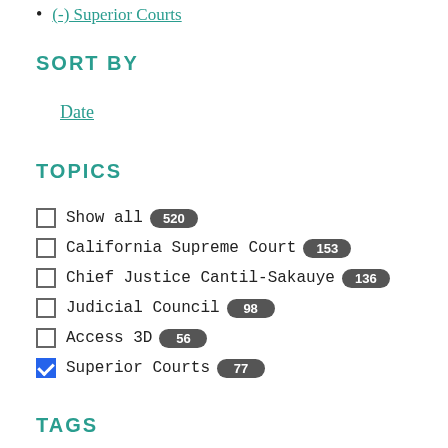(-) Superior Courts
SORT BY
Date
TOPICS
Show all 520
California Supreme Court 153
Chief Justice Cantil-Sakauye 136
Judicial Council 98
Access 3D 56
Superior Courts 77 (checked)
TAGS